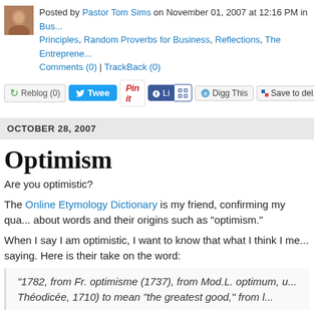Posted by Pastor Tom Sims on November 01, 2007 at 12:16 PM in Business Principles, Random Proverbs for Business, Reflections, The Entrepreneur... Comments (0) | TrackBack (0)
[Figure (infographic): Social sharing bar with Reblog, Tweet, Pin it, Like, Digg This, Save to del buttons]
OCTOBER 28, 2007
Optimism
Are you optimistic?
The Online Etymology Dictionary is my friend, confirming my qua... about words and their origins such as "optimism."
When I say I am optimistic, I want to know that what I think I me... saying. Here is their take on the word:
"1782, from Fr. optimisme (1737), from Mod.L. optimum, u... Théodicée, 1710) to mean "the greatest good," from L...